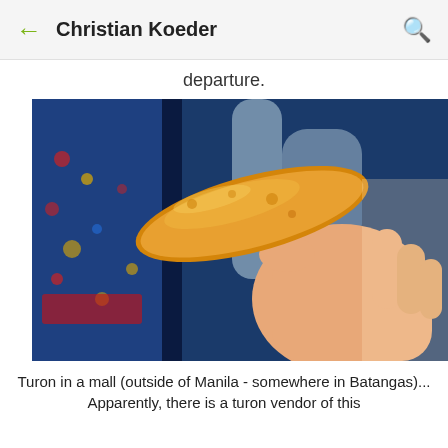Christian Koeder
departure.
[Figure (photo): A hand holding a turon (Filipino fried banana snack) inside a bus with blue patterned seats visible in the background. The turon appears golden-fried and elongated.]
Turon in a mall (outside of Manila - somewhere in Batangas)... Apparently, there is a turon vendor of this